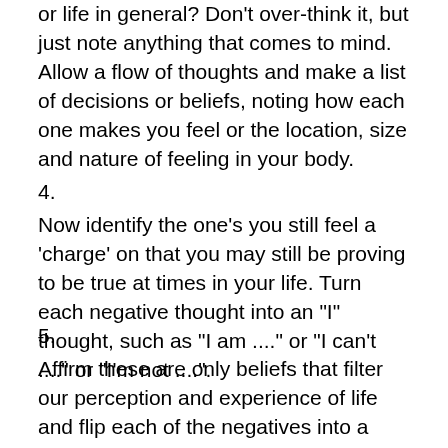or life in general? Don't over-think it, but just note anything that comes to mind. Allow a flow of thoughts and make a list of decisions or beliefs, noting how each one makes you feel or the location, size and nature of feeling in your body.
4.
Now identify the one's you still feel a 'charge' on that you may still be proving to be true at times in your life. Turn each negative thought into an "I" thought, such as "I am ...." or "I can't ...." or "I'm not ....".
5.
Affirm these are only beliefs that filter our perception and experience of life and flip each of the negatives into a positive affirmation or life affirming thought and belief. Like Chloe affirming "I am fully responsible, trustworthy and loved as I am", or "I, Chloe can be trusted and completely successful with